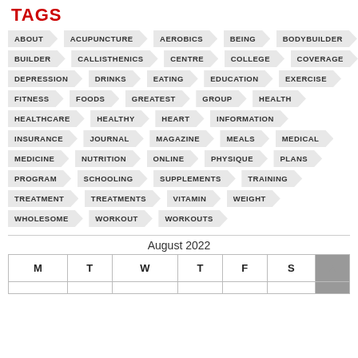TAGS
ABOUT
ACUPUNCTURE
AEROBICS
BEING
BODYBUILDER
BUILDER
CALLISTHENICS
CENTRE
COLLEGE
COVERAGE
DEPRESSION
DRINKS
EATING
EDUCATION
EXERCISE
FITNESS
FOODS
GREATEST
GROUP
HEALTH
HEALTHCARE
HEALTHY
HEART
INFORMATION
INSURANCE
JOURNAL
MAGAZINE
MEALS
MEDICAL
MEDICINE
NUTRITION
ONLINE
PHYSIQUE
PLANS
PROGRAM
SCHOOLING
SUPPLEMENTS
TRAINING
TREATMENT
TREATMENTS
VITAMIN
WEIGHT
WHOLESOME
WORKOUT
WORKOUTS
| M | T | W | T | F | S |  |
| --- | --- | --- | --- | --- | --- | --- |
|  |  |  |  |  |  |  |